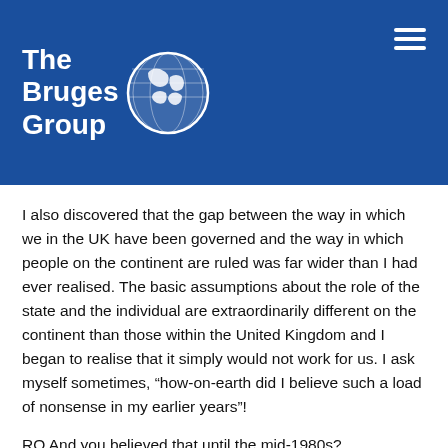[Figure (logo): The Bruges Group logo with globe icon on blue background header, with hamburger menu icon on right]
I also discovered that the gap between the way in which we in the UK have been governed and the way in which people on the continent are ruled was far wider than I had ever realised. The basic assumptions about the role of the state and the individual are extraordinarily different on the continent than those within the United Kingdom and I began to realise that it simply would not work for us. I ask myself sometimes, “how-on-earth did I believe such a load of nonsense in my earlier years”!
RO And you believed that until the mid-1980s?
LT Until the early 80s. And of course that is quite important. When I was an airline pilot I was a member of an international elite that spent more time out of the country than in the country. I had an enormous amount in